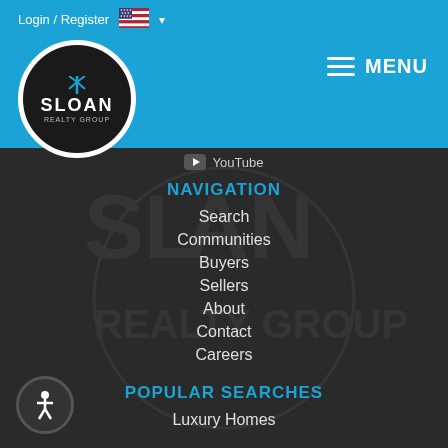Login / Register
[Figure (logo): Sloan Realty Group circular logo with dark background and white border]
MENU
YouTube
NAVIGATION
Search
Communities
Buyers
Sellers
About
Contact
Careers
POPULAR SEARCHES
Luxury Homes